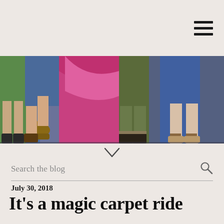[Figure (illustration): Illustration showing the lower halves of several people standing together, visible from the waist down. The figures wear colorful 1970s-style clothing: green skirt, blue jeans, pink/magenta dress or scarf, olive trousers, and a person in sandals. A brown platform heel shoe is prominent in the center.]
Search the blog
July 30, 2018
It's a magic carpet ride
Sesame Street magazine of the 1970s put the stylized pop-psychedelic style of the TV...